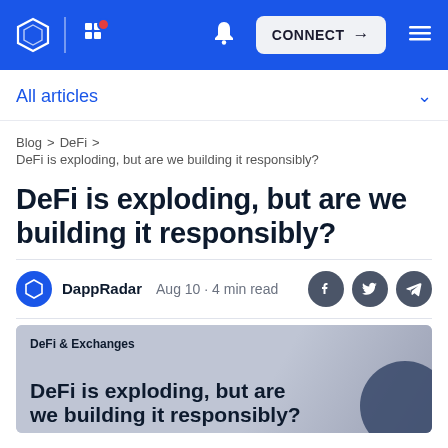DappRadar navigation bar with logo, grid icon, bell icon, CONNECT button, and hamburger menu
All articles
Blog > DeFi > DeFi is exploding, but are we building it responsibly?
DeFi is exploding, but are we building it responsibly?
DappRadar  Aug 10 · 4 min read
[Figure (illustration): Hero image with 'DeFi & Exchanges' tag and article title 'DeFi is exploding, but are we building it responsibly?' overlaid on a grey background with a dark circle shape on the right.]